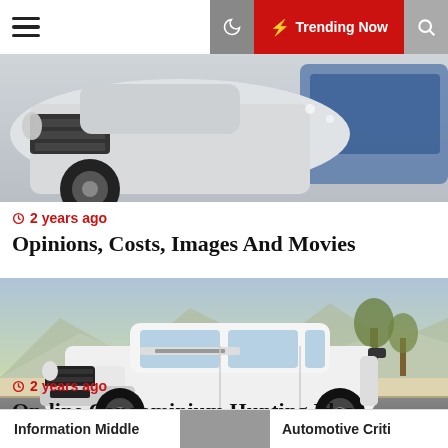☰  ☽  ⚡ Trending Now  🔍
[Figure (photo): Close-up photo of car front grille and wheel, silver/white and blue vehicles]
🕐 2 years ago
Opinions, Costs, Images And Movies
[Figure (photo): White Land Rover Discovery SUV driving on road with mountains in background]
🕐 2 years ago
On-line Condominium Hunting Ideas
Information Middle   Automotive Criti